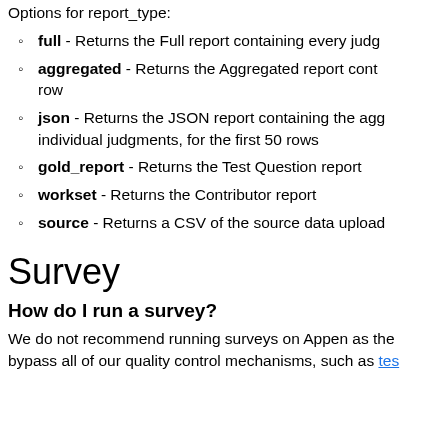Options for report_type:
full - Returns the Full report containing every judg…
aggregated - Returns the Aggregated report cont… row
json - Returns the JSON report containing the agg… individual judgments, for the first 50 rows
gold_report - Returns the Test Question report
workset - Returns the Contributor report
source - Returns a CSV of the source data upload…
Survey
How do I run a survey?
We do not recommend running surveys on Appen as the… bypass all of our quality control mechanisms, such as tes…